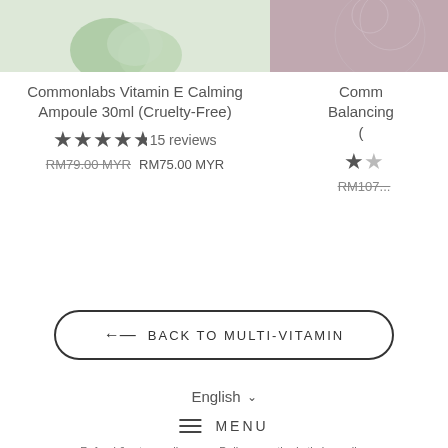[Figure (photo): Product image of Commonlabs Vitamin E Calming Ampoule with green/teal serum droplets on light background]
Commonlabs Vitamin E Calming Ampoule 30ml (Cruelty-Free)
★★★★✩ 15 reviews
RM79.00 MYR  RM75.00 MYR
[Figure (photo): Partial product image on dark mauve/purple background with circular design elements]
Commonlabs Balancing (truncated)
★✩ (truncated rating)
RM107... (truncated price)
← BACK TO MULTI-VITAMIN
English ∨
≡ MENU
Refund & return policy   Delivery methods timing policy